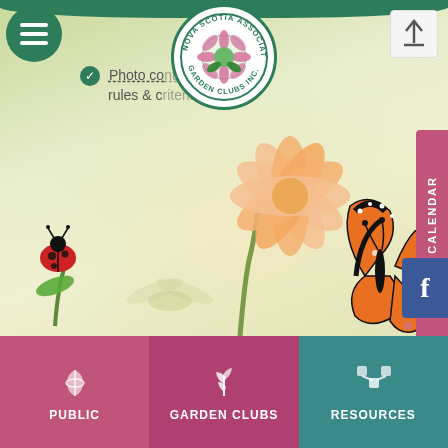[Figure (screenshot): Nova Scotia Association of Garden Clubs website screenshot showing the homepage with logo, hamburger menu, photo contest link, garden background illustration with butterfly, ladybug and flower, Events Calendar side button, Facebook button, and bottom navigation with Public, Garden Clubs, and Resources sections]
Photo contest: rules & criteria
EVENTS CALENDAR
f
PUBLIC
GARDEN CLUBS
RESOURCES